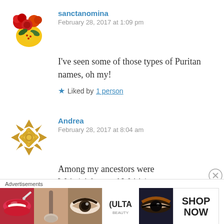sanctanomina
February 28, 2017 at 1:09 pm
I've seen some of those types of Puritan names, oh my!
★ Liked by 1 person
Andrea
February 28, 2017 at 8:04 am
Among my ancestors were Wait (nicknamed Waitie),
Advertisements
[Figure (other): Advertisement banner with beauty product images and ULTA logo with SHOP NOW button]